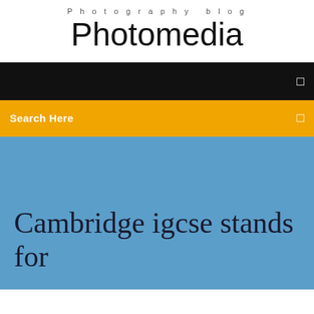Photography blog
Photomedia
☰
Search Here
☰
Cambridge igcse stands for